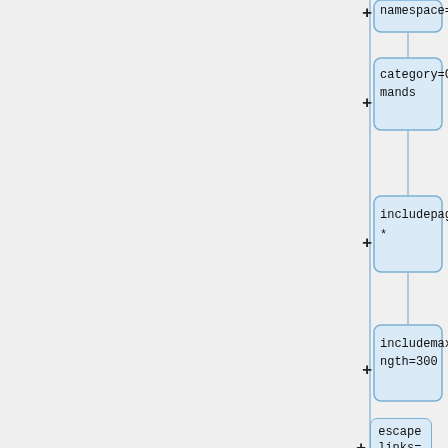[Figure (flowchart): A vertical flowchart/tree diagram showing nodes connected by '+' connectors. Each node is a rounded light-blue box containing monospace parameter text. Visible nodes from top to bottom: 'namespace=', 'category=Commands', 'includepage=*', 'includemaxlength=300', 'escapelinks=false', 'resultsheader=__NOTOC____NOEDITSECTION__', 'randomcount=1', 'mode=userformat']